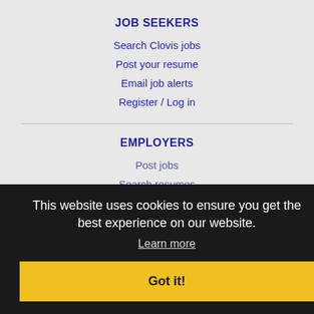JOB SEEKERS
Search Clovis jobs
Post your resume
Email job alerts
Register / Log in
EMPLOYERS
Post jobs
Search resumes
Email resume alerts
Advertise
This website uses cookies to ensure you get the best experience on our website.
Learn more
Got it!
IMMIGRATION SPECIALISTS
Post jobs